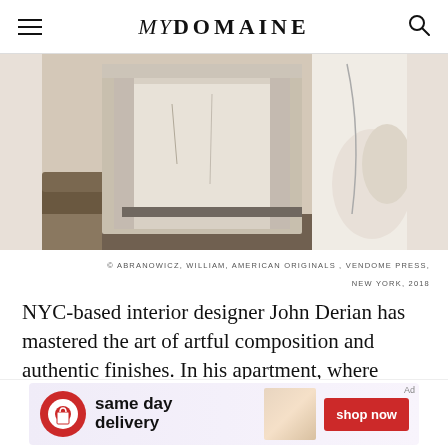MYDOMAINE
[Figure (photo): Interior photo showing a fireplace mantel in a rustic apartment with stone/marble surround, cracked plaster walls, worn floor, and partial view of a curved sofa on the right.]
© ABRANOWICZ, WILLIAM, AMERICAN ORIGINALS , VENDOME PRESS, NEW YORK, 2018
NYC-based interior designer John Derian has mastered the art of artful composition and authentic finishes. In his apartment, where others would have replastered the walls and fixed the floors, he embraced the imperfections, something Abranowicz admired: "The
[Figure (other): Target advertisement banner: same day delivery, shop now button]